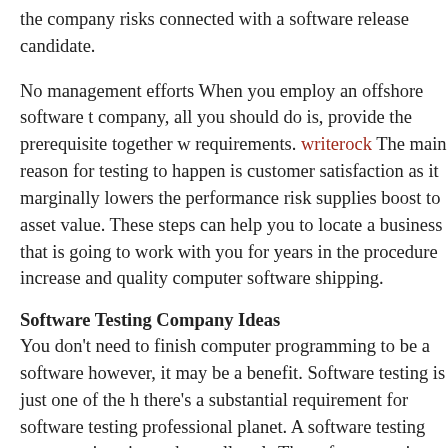the company risks connected with a software release candidate.
No management efforts When you employ an offshore software testing company, all you should do is, provide the prerequisite together with requirements. writerock The main reason for testing to happen is customer satisfaction as it marginally lowers the performance risk, supplies boost to asset value. These steps can help you to locate a business that is going to work with you for years in the procedure increase and quality computer software shipping.
Software Testing Company Ideas
You don't need to finish computer programming to be a software however, it may be a benefit. Software testing is just one of the hottest there's a substantial requirement for software testing professionals planet. A software testing company is going to have all tools The software testing provider caters for customers with their software service and so, their QA and testing team will have accessibility to best testing tools to execute automated testing and other forms of